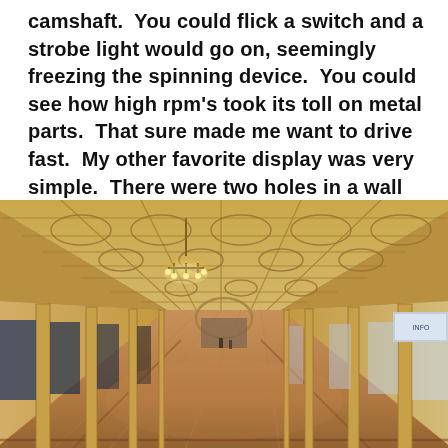camshaft.  You could flick a switch and a strobe light would go on, seemingly freezing the spinning device.  You could see how high rpm's took its toll on metal parts.  That sure made me want to drive fast.  My other favorite display was very simple.  There were two holes in a wall about twenty-four inches
[Figure (photo): Interior perspective photograph of a long ornate corridor or galleria with arched coffered ceiling decorated with classical motifs, a chandelier hanging from the ceiling, reflective marble floor, and storefronts or doorways along both sides receding into the distance.]